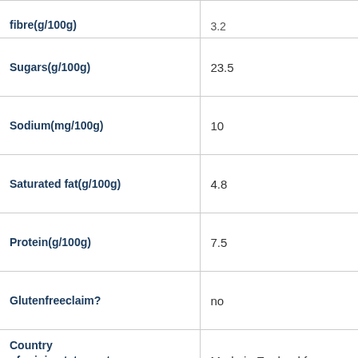| Attribute | Value |
| --- | --- |
| fibre(g/100g) | 3.2 |
| Sugars(g/100g) | 23.5 |
| Sodium(mg/100g) | 10 |
| Saturated fat(g/100g) | 4.8 |
| Protein(g/100g) | 7.5 |
| Glutenfreeclaim? | no |
| Country of origin statement and imported ingredients | Made in England from local |
| Product name Bursting with Berries | Jordans Crunchy Oat Granola |
| Health StarRating | 3.5 |